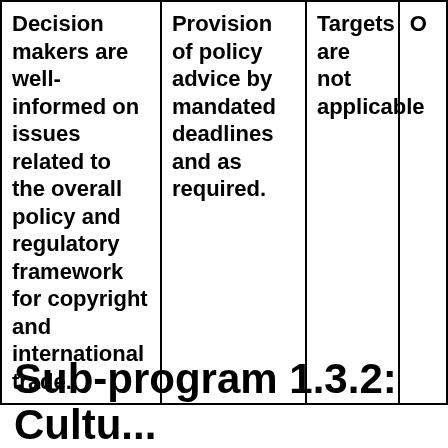| Decision makers are well-informed on issues related to the overall policy and regulatory framework for copyright and international trade. | Provision of policy advice by mandated deadlines and as required. | Targets are not applicable | O |
Sub-program 1.3.2: Cultural...